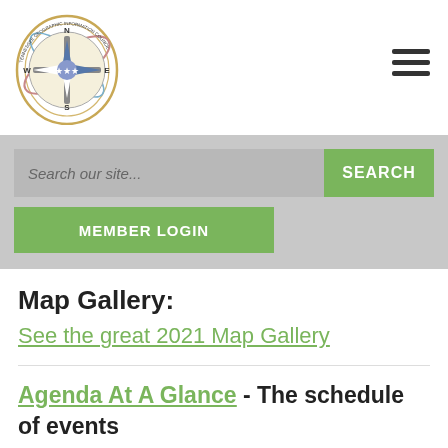[Figure (logo): Tennessee Geographic Information Council compass logo with orbital rings]
Search our site...
SEARCH
MEMBER LOGIN
Map Gallery:
See the great 2021 Map Gallery
Agenda At A Glance - The schedule of events